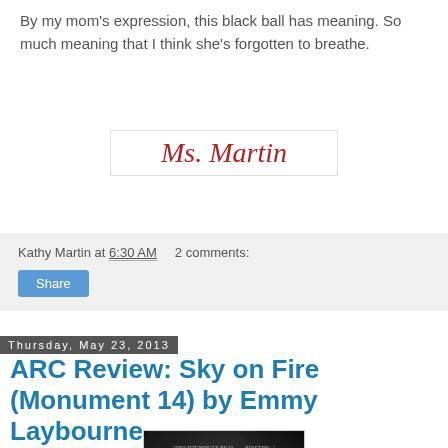By my mom's expression, this black ball has meaning. So much meaning that I think she's forgotten to breathe.
[Figure (illustration): Cursive signature reading 'Ms. Martin' in red italic script on white background with border]
Kathy Martin at 6:30 AM   2 comments:
Share
Thursday, May 23, 2013
ARC Review: Sky on Fire (Monument 14) by Emmy Laybourne
[Figure (photo): Book cover of Monument 14: Sky on Fire. Dark atmospheric background with white bold text 'MONUMENT 14' and gold text 'SKY ON FIRE'. Tagline reads 'FRIGHTENINGLY REAL... RIVETING.' from New York Times Book Review on Monument 14.]